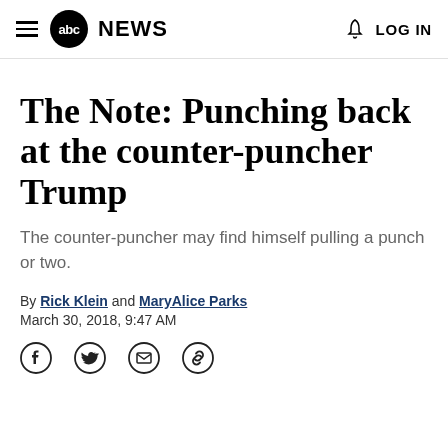abc NEWS   LOG IN
The Note: Punching back at the counter-puncher Trump
The counter-puncher may find himself pulling a punch or two.
By Rick Klein and MaryAlice Parks
March 30, 2018, 9:47 AM
[Figure (other): Social sharing icons row: Facebook, Twitter, Email, Link]